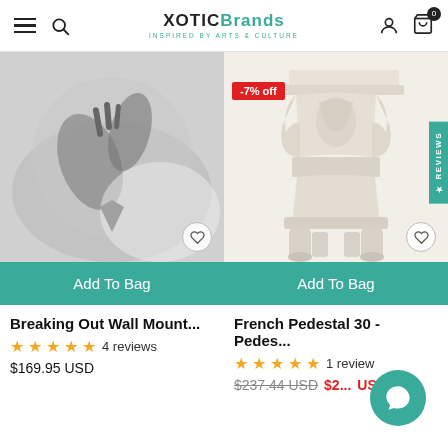XoticBrands - Inspired by Arts & Culture
[Figure (photo): Black and white photo of two hands reaching, one holding a shark tooth]
Add To Bag
Breaking Out Wall Mount...
★★★★★ 4 reviews
$169.95 USD
[Figure (photo): Ornate white/cream French pedestal stand with decorative carved details and four legs]
-7% off
Add To Bag
French Pedestal 30 - Pedes...
★★★★★ 1 review
$237.44 USD $2...USD